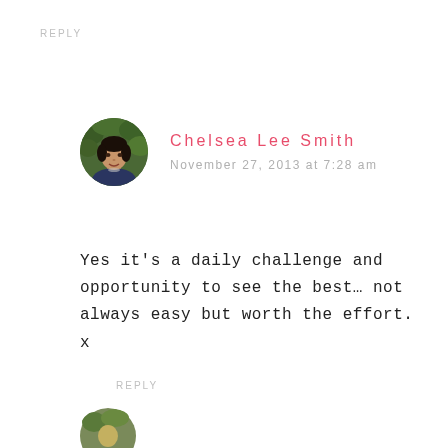REPLY
[Figure (photo): Circular avatar photo of Chelsea Lee Smith, a woman with dark hair, wearing a dark top, with green foliage background]
Chelsea Lee Smith
November 27, 2013 at 7:28 am
Yes it's a daily challenge and opportunity to see the best… not always easy but worth the effort. x
REPLY
[Figure (photo): Partial circular avatar photo visible at the bottom of the page]